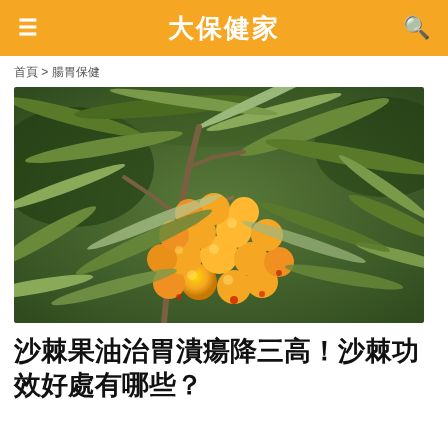大保健家
首頁 > 腸胃保健
[Figure (photo): Close-up photo of bright orange sea buckthorn berries clustered on a branch with green leaves in the background]
沙棘果油治胃潰瘍降三高！沙棘功效好處有哪些？